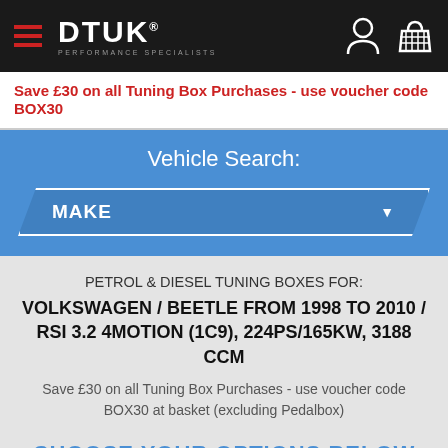[Figure (logo): DTUK Performance Specialists logo with hamburger menu icon on dark background, plus user and basket icons on right]
Save £30 on all Tuning Box Purchases - use voucher code BOX30
Vehicle Search:
MAKE
PETROL & DIESEL TUNING BOXES FOR:
VOLKSWAGEN / BEETLE FROM 1998 TO 2010 / RSI 3.2 4MOTION (1C9), 224PS/165KW, 3188 CCM
Save £30 on all Tuning Box Purchases - use voucher code BOX30 at basket (excluding Pedalbox)
CHOOSE YOUR OPTIONS BELOW